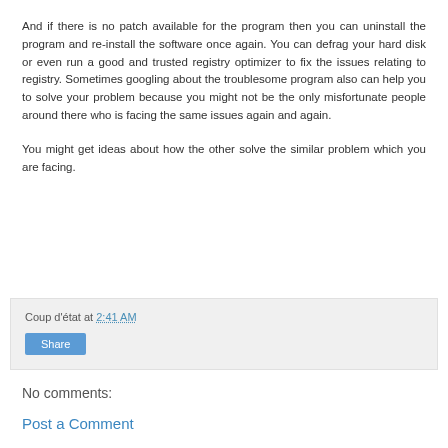And if there is no patch available for the program then you can uninstall the program and re-install the software once again. You can defrag your hard disk or even run a good and trusted registry optimizer to fix the issues relating to registry. Sometimes googling about the troublesome program also can help you to solve your problem because you might not be the only misfortunate people around there who is facing the same issues again and again.
You might get ideas about how the other solve the similar problem which you are facing.
Coup d'état at 2:41 AM
Share
No comments:
Post a Comment